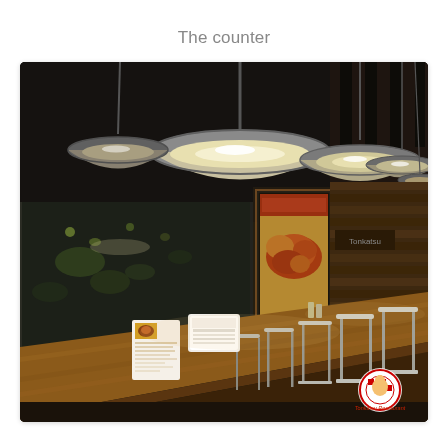The counter
[Figure (photo): Interior photo of a restaurant counter area showing large silver pendant lights hanging from the ceiling, a long wooden counter bar with white stools, backlit food menu posters on the wall, and a napkin dispenser on the counter. A restaurant logo watermark is visible in the bottom right corner.]